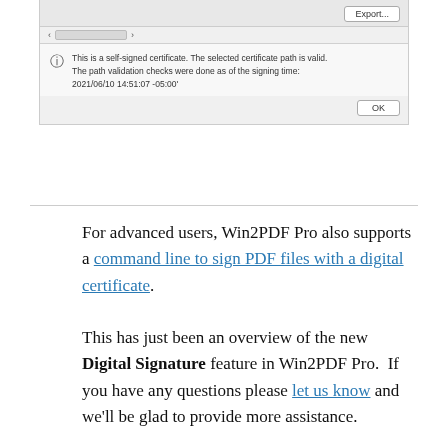[Figure (screenshot): A dialog box screenshot showing a certificate validation message. Contains an Export button, a scrollbar row, an info icon with text 'This is a self-signed certificate. The selected certificate path is valid. The path validation checks were done as of the signing time: 2021/06/10 14:51:07 -05:00', and an OK button.]
For advanced users, Win2PDF Pro also supports a command line to sign PDF files with a digital certificate.
This has just been an overview of the new Digital Signature feature in Win2PDF Pro. If you have any questions please let us know and we'll be glad to provide more assistance.